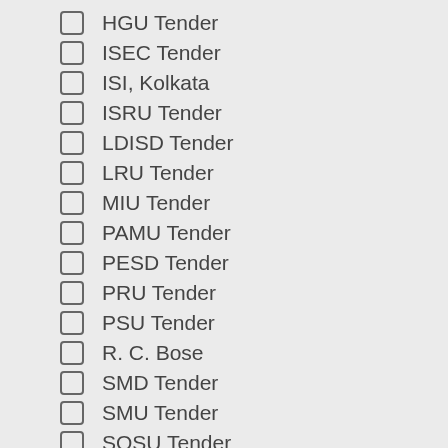HGU Tender
ISEC Tender
ISI, Kolkata
ISRU Tender
LDISD Tender
LRU Tender
MIU Tender
PAMU Tender
PESD Tender
PRU Tender
PSU Tender
R. C. Bose
SMD Tender
SMU Tender
SOSU Tender
SQCOR Tender
SQCORD News